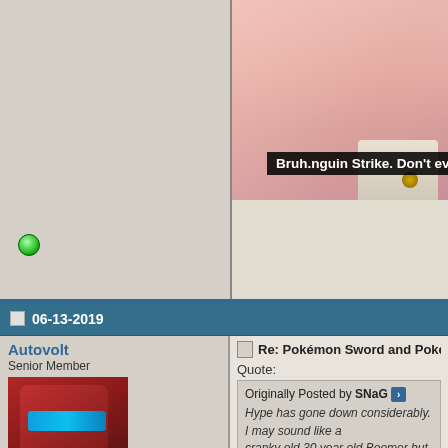[Figure (screenshot): Top section with two columns: left column is gray background with a green online indicator dot at bottom left; right column shows an anime screenshot with a pink-haired character and a subtitle bar reading 'Bruh.nguin Strike. Don't ever underestim']
Bruh.nguin Strike. Don't ever underestim
06-13-2019
Autovolt
Senior Member
[Figure (photo): Avatar image of a red robotic/armored figure with blue visor, hands raised near face]
Join Date: Feb 2012
Location: Ottawa
Age: 28
Posts: 2,325
Re: Pokémon Sword and Pokémon Shield
Quote:
Originally Posted by SNaG
Hype has gone down considerably. I may sound like a cranky old 30 year old Boomer but the real highlight for me in the post game. I s em all and raising a ton of Pokemon and watching them migrate each generation. Soun be a skip for me since I value that so there seems to be sizable backlash a knows.
Same. I really wanted to get the game bu realize this is unacceptable.
I just hope people don't just forget about reminding Nintendo, GameFreak and TC